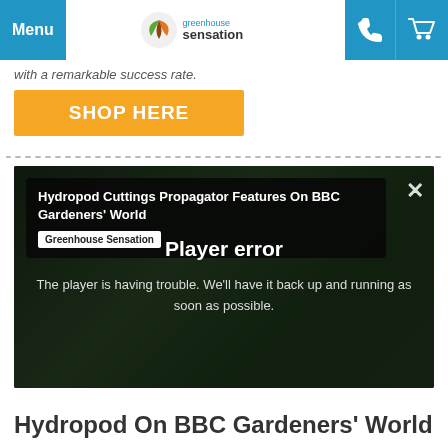Menu | greenhouse sensation | [phone icon] | [cart icon]
with a remarkable success rate.
[Figure (other): Orange 'SHOP HERE' button]
[Figure (screenshot): Video player showing 'Hydropod Cuttings Propagator Features On BBC Gardeners' World' by Greenhouse Sensation, with a Player error message: 'The player is having trouble. We'll have it back up and running as soon as possible.']
Hydropod On BBC Gardeners' World